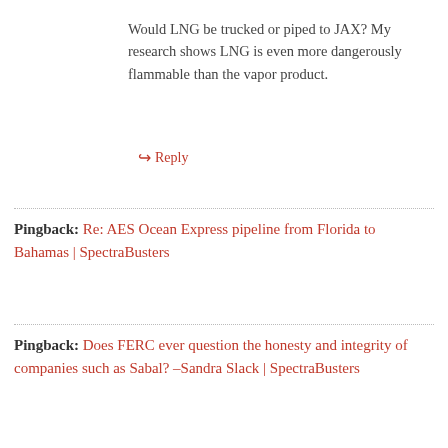Would LNG be trucked or piped to JAX? My research shows LNG is even more dangerously flammable than the vapor product.
↳ Reply
Pingback: Re: AES Ocean Express pipeline from Florida to Bahamas | SpectraBusters
Pingback: Does FERC ever question the honesty and integrity of companies such as Sabal? –Sandra Slack | SpectraBusters